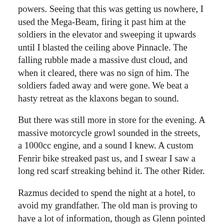powers. Seeing that this was getting us nowhere, I used the Mega-Beam, firing it past him at the soldiers in the elevator and sweeping it upwards until I blasted the ceiling above Pinnacle. The falling rubble made a massive dust cloud, and when it cleared, there was no sign of him. The soldiers faded away and were gone. We beat a hasty retreat as the klaxons began to sound.
But there was still more in store for the evening. A massive motorcycle growl sounded in the streets, a 1000cc engine, and a sound I knew. A custom Fenrir bike streaked past us, and I swear I saw a long red scarf streaking behind it. The other Rider.
Razmus decided to spend the night at a hotel, to avoid my grandfather. The old man is proving to have a lot of information, though as Glenn pointed out, he’s undoubtedly not telling us everything he knows. What he did tell me was that we were probably dealing with Wild